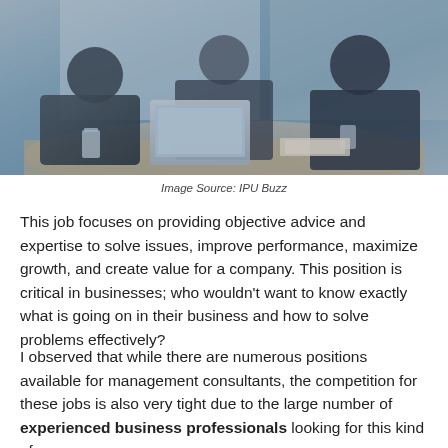[Figure (photo): Business professionals sitting at a table with laptops in a meeting setting, blue-toned corporate photo]
Image Source: IPU Buzz
This job focuses on providing objective advice and expertise to solve issues, improve performance, maximize growth, and create value for a company. This position is critical in businesses; who wouldn't want to know exactly what is going on in their business and how to solve problems effectively?
I observed that while there are numerous positions available for management consultants, the competition for these jobs is also very tight due to the large number of experienced business professionals looking for this kind of